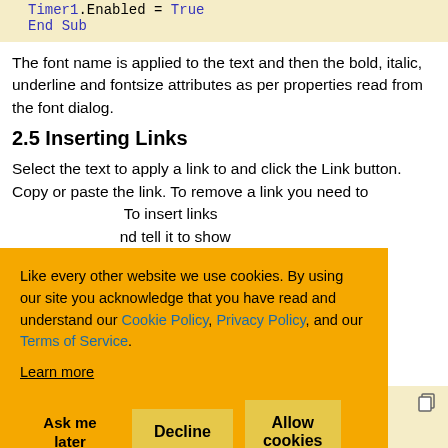Timer1.Enabled = True
End Sub
The font name is applied to the text and then the bold, italic, underline and fontsize attributes as per properties read from the font dialog.
2.5 Inserting Links
Select the text to apply a link to and click the Link button. Copy or paste the link. To remove a link you need to ... To insert links ... nd tell it to show ... e in the
Like every other website we use cookies. By using our site you acknowledge that you have read and understand our Cookie Policy, Privacy Policy, and our Terms of Service. Learn more
Ask me later  Decline  Allow cookies
(sender As

Timer1.Enabled = False